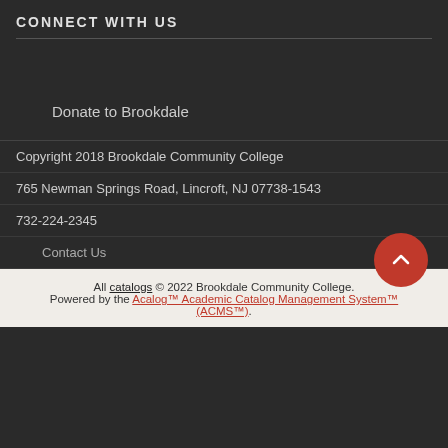CONNECT WITH US
Donate to Brookdale
Copyright 2018 Brookdale Community College
765 Newman Springs Road, Lincroft, NJ 07738-1543
732-224-2345
Contact Us
All catalogs © 2022 Brookdale Community College. Powered by the Acalog™ Academic Catalog Management System™ (ACMS™).